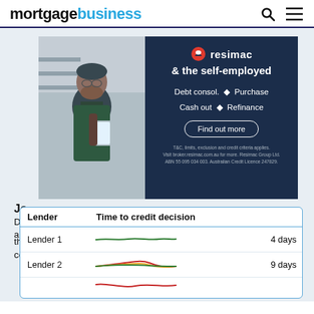mortgagebusiness
[Figure (photo): Man holding a tablet in a warehouse setting, advertisement overlay for Resimac showing '& the self-employed' with options: Debt consol., Purchase, Cash out, Refinance, and a 'Find out more' button]
Jo...
Do... rs and...
the survey and we'll send you the results directly to your inbox - completely free!
| Lender | Time to credit decision |
| --- | --- |
| Lender 1 | 4 days |
| Lender 2 | 9 days |
| Lender 3 (partial) |  |